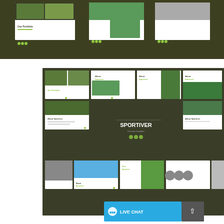[Figure (screenshot): Top portion showing a row of sports-themed presentation slide previews on dark olive background. Slides feature 'About' heading and golf/outdoor imagery.]
[Figure (screenshot): Lower large section showing a grid of Sportiver premium PowerPoint template slide previews. Dark olive bordered container with multiple slide layouts showing 'About Sportiver', 'Our Portfolio', and a central title slide reading 'SPORTIVER Premium Template' with decorative dots.]
SPORTIVER
LIVE CHAT